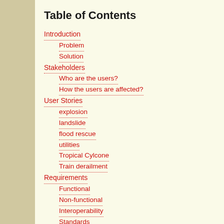Table of Contents
Introduction
Problem
Solution
Stakeholders
Who are the users?
How the users are affected?
User Stories
explosion
landslide
flood rescue
utilities
Tropical Cylcone
Train derailment
Requirements
Functional
Non-functional
Interoperability
Standards
Incident Command System (ICS)
HXL
EDXL-SITREP
EDXL-RM
System Constraints
Design
Use Case Diagram
Data Model
Workflows